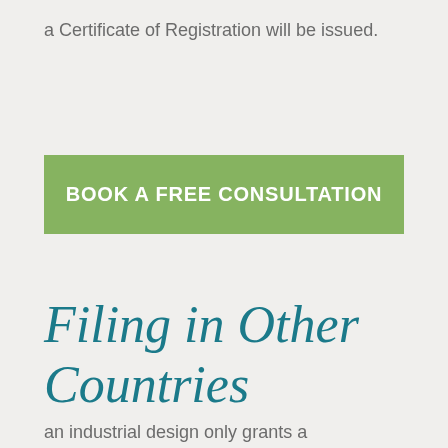a Certificate of Registration will be issued.
[Figure (other): Green button with white bold uppercase text: BOOK A FREE CONSULTATION]
Filing in Other Countries
an industrial design only grants a